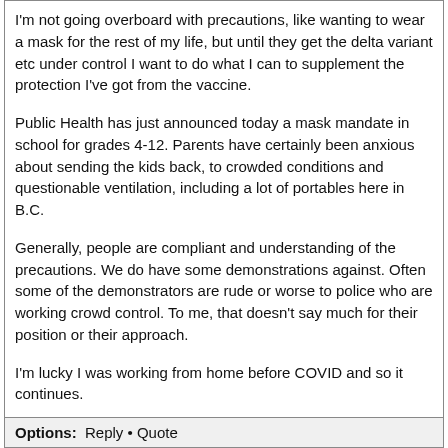I'm not going overboard with precautions, like wanting to wear a mask for the rest of my life, but until they get the delta variant etc under control I want to do what I can to supplement the protection I've got from the vaccine.

Public Health has just announced today a mask mandate in school for grades 4-12. Parents have certainly been anxious about sending the kids back, to crowded conditions and questionable ventilation, including a lot of portables here in B.C.

Generally, people are compliant and understanding of the precautions. We do have some demonstrations against. Often some of the demonstrators are rude or worse to police who are working crowd control. To me, that doesn't say much for their position or their approach.

I'm lucky I was working from home before COVID and so it continues.
Options: Reply • Quote
re: yay ! ~   Posted by: ziller ( )   Date: August 24, 2021 02:50PM
in this throd :